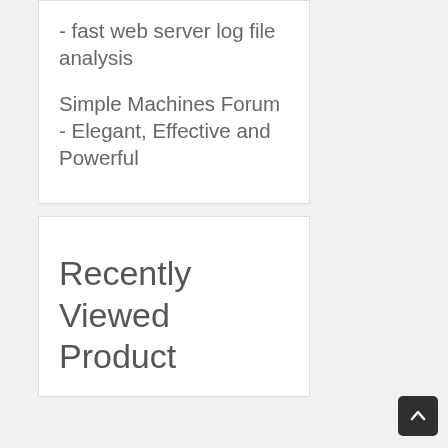- fast web server log file analysis
Simple Machines Forum - Elegant, Effective and Powerful
Recently Viewed Product